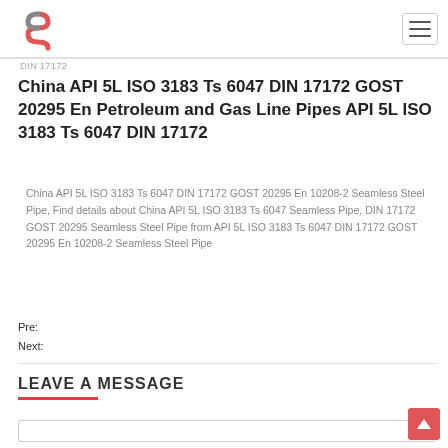DIN 17172
China API 5L ISO 3183 Ts 6047 DIN 17172 GOST 20295 En Petroleum and Gas Line Pipes API 5L ISO 3183 Ts 6047 DIN 17172
China API 5L ISO 3183 Ts 6047 DIN 17172 GOST 20295 En 10208-2 Seamless Steel Pipe, Find details about China API 5L ISO 3183 Ts 6047 Seamless Pipe, DIN 17172 GOST 20295 Seamless Steel Pipe from API 5L ISO 3183 Ts 6047 DIN 17172 GOST 20295 En 10208-2 Seamless Steel Pipe
Pre:
Next:
LEAVE A MESSAGE